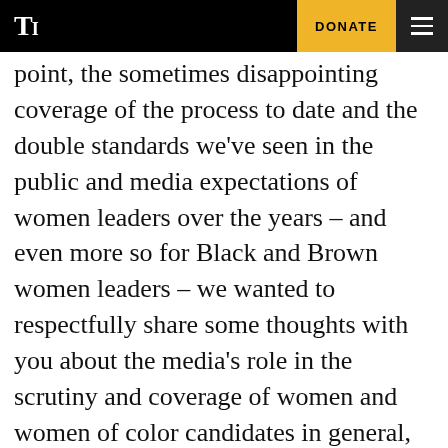T [logo] | DONATE | ≡
point, the sometimes disappointing coverage of the process to date and the double standards we've seen in the public and media expectations of women leaders over the years – and even more so for Black and Brown women leaders – we wanted to respectfully share some thoughts with you about the media's role in the scrutiny and coverage of women and women of color candidates in general, and the vice-presidential candidate in particular.

We do this today without knowing who
DONATE